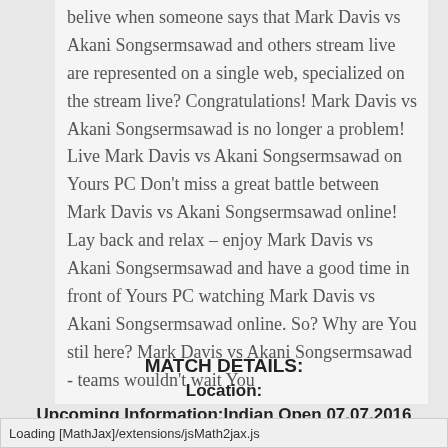belive when someone says that Mark Davis vs Akani Songsermsawad and others stream live are represented on a single web, specialized on the stream live? Congratulations! Mark Davis vs Akani Songsermsawad is no longer a problem! Live Mark Davis vs Akani Songsermsawad on Yours PC Don't miss a great battle between Mark Davis vs Akani Songsermsawad online! Lay back and relax – enjoy Mark Davis vs Akani Songsermsawad and have a good time in front of Yours PC watching Mark Davis vs Akani Songsermsawad online. So? Why are You stil here? Mark Davis vs Akani Songsermsawad - teams wouldn't wait You
MATCH DETAILS:
Location:
Upcoming Information:Indian Open 07.07.2016
Competition: Songsermsawad vs Davis live
Loading [MathJax]/extensions/jsMath2jax.js